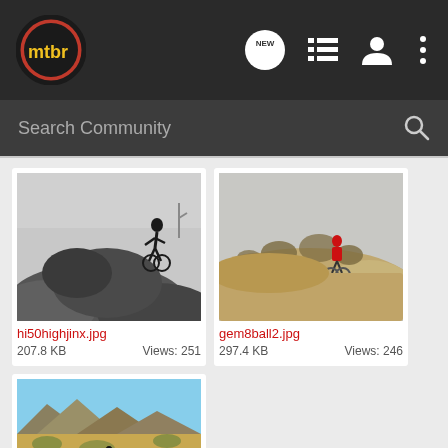[Figure (screenshot): MTBR app top navigation bar with logo, NEW chat icon, list icon, user icon, and more options icon]
[Figure (screenshot): Search Community search bar with search icon]
[Figure (photo): Black and white photo of mountain biker on rocky terrain]
hi50highjinx.jpg
207.8 KB   Views: 251
[Figure (photo): Color photo of mountain biker on rocky desert terrain with sparse vegetation]
gem8ball2.jpg
297.4 KB   Views: 246
[Figure (photo): Color photo of mountain biker on desert trail with mountains in background]